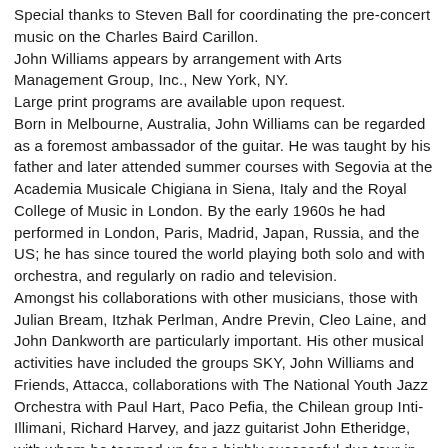Special thanks to Steven Ball for coordinating the pre-concert music on the Charles Baird Carillon.
John Williams appears by arrangement with Arts Management Group, Inc., New York, NY.
Large print programs are available upon request.
Born in Melbourne, Australia, John Williams can be regarded as a foremost ambassador of the guitar. He was taught by his father and later attended summer courses with Segovia at the Academia Musicale Chigiana in Siena, Italy and the Royal College of Music in London. By the early 1960s he had performed in London, Paris, Madrid, Japan, Russia, and the US; he has since toured the world playing both solo and with orchestra, and regularly on radio and television.
Amongst his collaborations with other musicians, those with Julian Bream, Itzhak Perlman, Andre Previn, Cleo Laine, and John Dankworth are particularly important. His other musical activities have included the groups SKY, John Williams and Friends, Attacca, collaborations with The National Youth Jazz Orchestra with Paul Hart, Paco Pefia, the Chilean group Inti-Illimani, Richard Harvey, and jazz guitarist John Etheridge, with whom he teamed up for a highly successful duo tour in the UK and US in 0607. The duo's program "Places Between" was also recorded by Sony BMG and released in 2006.
Mr. Williams maintains a wide-ranging interest in